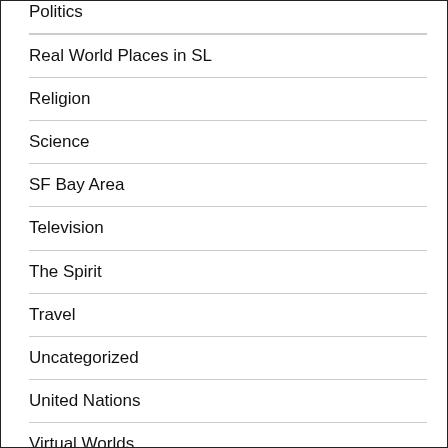Politics
Real World Places in SL
Religion
Science
SF Bay Area
Television
The Spirit
Travel
Uncategorized
United Nations
Virtual Worlds